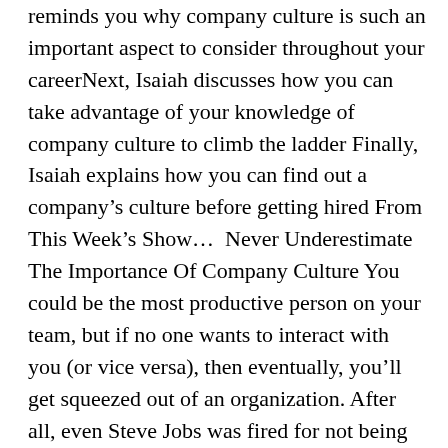reminds you why company culture is such an important aspect to consider throughout your careerNext, Isaiah discusses how you can take advantage of your knowledge of company culture to climb the ladder Finally, Isaiah explains how you can find out a company's culture before getting hired From This Week's Show...  Never Underestimate The Importance Of Company Culture You could be the most productive person on your team, but if no one wants to interact with you (or vice versa), then eventually, you'll get squeezed out of an organization. After all, even Steve Jobs was fired for not being able to work within his own company's culture. Another reason to care about culture is that your ability to climb the corporate ladder is highly dependent on how well your work style aligns with that of the company. How To Skyrocket Your Career By Knowing The Company's Unspoken Rules It should be no surprise that people well-integrated into a company's culture are more likely to...